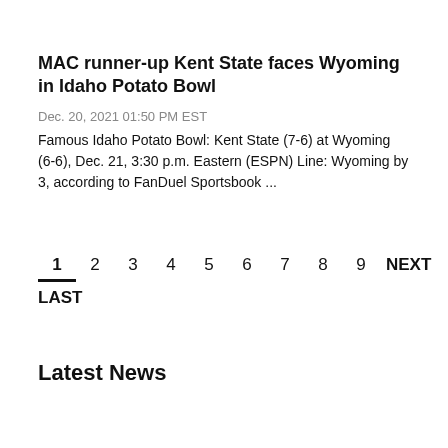MAC runner-up Kent State faces Wyoming in Idaho Potato Bowl
Dec. 20, 2021 01:50 PM EST
Famous Idaho Potato Bowl: Kent State (7-6) at Wyoming (6-6), Dec. 21, 3:30 p.m. Eastern (ESPN) Line: Wyoming by 3, according to FanDuel Sportsbook ...
1  2  3  4  5  6  7  8  9  NEXT
LAST
Latest News